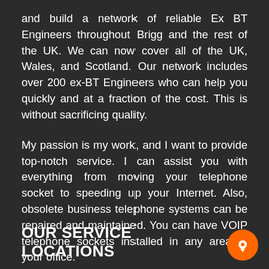and build a network of reliable Ex BT Engineers throughout Brigg and the rest of the UK. We can now cover all of the UK, Wales, and Scotland. Our network includes over 200 ex-BT Engineers who can help you quickly and at a fraction of the cost. This is without sacrificing quality.
My passion is my work, and I want to provide top-notch service. I can assist you with everything from moving your telephone socket to speeding up your Internet. Also, obsolete business telephone systems can be repaired and maintained. You can have VOIP telephone sockets installed in any area of your office.
OUR SERVICE LOCATIONS